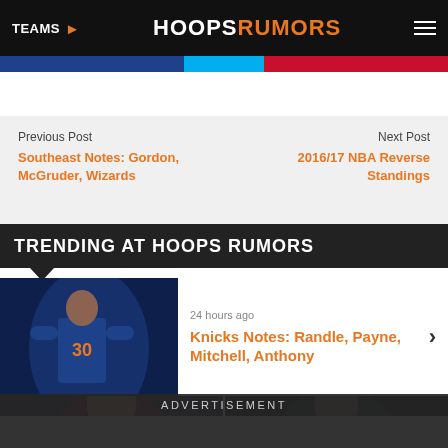TEAMS ▶  HOOPSRUMORS  ≡
[Figure (other): Colored horizontal band: blue, cyan, red sections]
Previous Post
Southeast Notes: Gordon, McGruder, Wizards
Next Post
2016/17 NBA Reverse Standings
TRENDING AT HOOPS RUMORS
[Figure (photo): NBA player in New York Knicks #30 jersey]
24 hours ago
Knicks Notes: Randle, Payne, Mitchell, Anthony
[Figure (photo): Basketball player in Raptors red jersey]
[Figure (photo): Basketball player close-up portrait]
ADVERTISEMENT